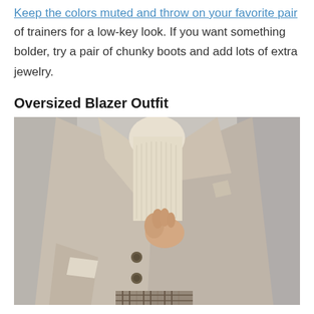Keep the colors muted and throw on your favorite pair of trainers for a low-key look. If you want something bolder, try a pair of chunky boots and add lots of extra jewelry.
Oversized Blazer Outfit
[Figure (photo): A person wearing an oversized beige/taupe double-breasted blazer over a cream ribbed turtleneck sweater, with one hand held to the chest. The background is a light grey.]